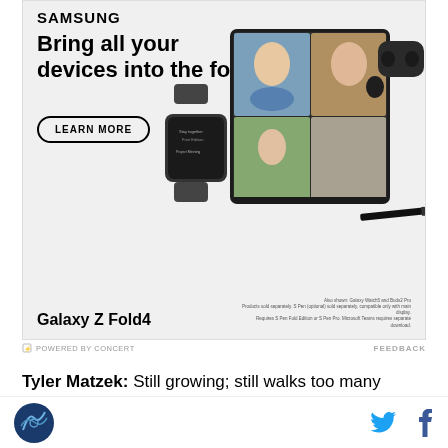[Figure (illustration): Samsung advertisement for Galaxy Z Fold4 showing LEARN MORE button, a smartwatch, a foldable phone with video call, earbuds, and S Pen. Text: SAMSUNG / Bring all your devices into the fold / LEARN MORE / Galaxy Z Fold4 / Also shown: Galaxy Watch5 and Buds2 Pro / Products sold separately...]
POWERED BY CONCERT   FEEDBACK
Tyler Matzek: Still growing; still walks too many people; still tough to hit; still a mystery. If I had to guess where he goes from here, I would expect a higher ERA
[site logo] [twitter] [facebook]